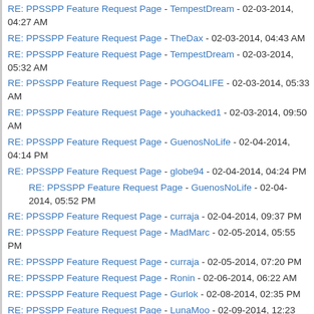RE: PPSSPP Feature Request Page - TempestDream - 02-03-2014, 04:27 AM
RE: PPSSPP Feature Request Page - TheDax - 02-03-2014, 04:43 AM
RE: PPSSPP Feature Request Page - TempestDream - 02-03-2014, 05:32 AM
RE: PPSSPP Feature Request Page - POGO4LIFE - 02-03-2014, 05:33 AM
RE: PPSSPP Feature Request Page - youhacked1 - 02-03-2014, 09:50 AM
RE: PPSSPP Feature Request Page - GuenosNoLife - 02-04-2014, 04:14 PM
RE: PPSSPP Feature Request Page - globe94 - 02-04-2014, 04:24 PM
RE: PPSSPP Feature Request Page - GuenosNoLife - 02-04-2014, 05:52 PM
RE: PPSSPP Feature Request Page - curraja - 02-04-2014, 09:37 PM
RE: PPSSPP Feature Request Page - MadMarc - 02-05-2014, 05:55 PM
RE: PPSSPP Feature Request Page - curraja - 02-05-2014, 07:20 PM
RE: PPSSPP Feature Request Page - Ronin - 02-06-2014, 06:22 AM
RE: PPSSPP Feature Request Page - Gurlok - 02-08-2014, 02:35 PM
RE: PPSSPP Feature Request Page - LunaMoo - 02-09-2014, 12:23 AM
RE: PPSSPP Feature Request Page - Gurlok - 02-09-2014, 06:03 PM
RE: PPSSPP Feature Request Page - FireReaver - 02-09-2014, 01:27